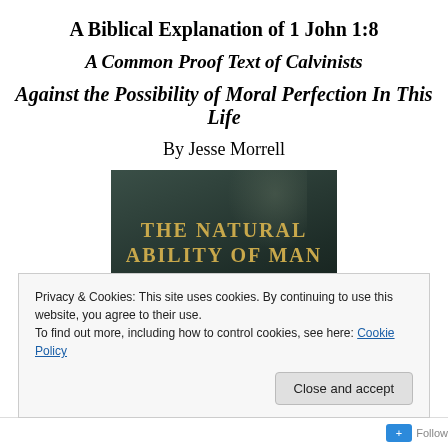A Biblical Explanation of 1 John 1:8
A Common Proof Text of Calvinists
Against the Possibility of Moral Perfection In This Life
By Jesse Morrell
[Figure (photo): Book cover of 'The Natural Ability of Man: A Study on Free Will & Human Nature' with dark teal/green background and gold text]
Privacy & Cookies: This site uses cookies. By continuing to use this website, you agree to their use.
To find out more, including how to control cookies, see here: Cookie Policy
Close and accept